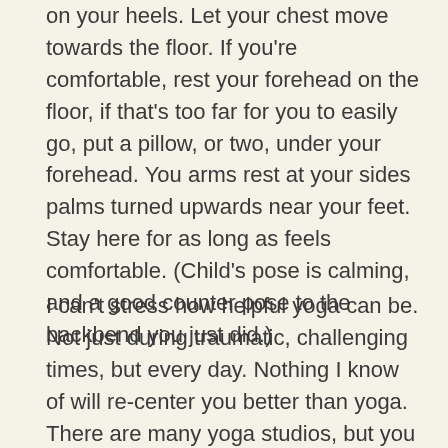on your heels.  Let your chest move towards the floor.  If you're comfortable, rest your forehead on the floor, if that's too far for you to easily go, put a pillow, or two, under your forehead.  You arms rest at your sides palms turned upwards near your feet.  Stay here for as long as feels comfortable.  (Child's pose is calming, and a good counter pose to the backbend you just did.)
I can't stress how helpful yoga can be.  Not just during traumatic, challenging times, but every day.  Nothing I know of will re-center you better than yoga.  There are many yoga studios, but you can find classes everywhere: gyms, religious